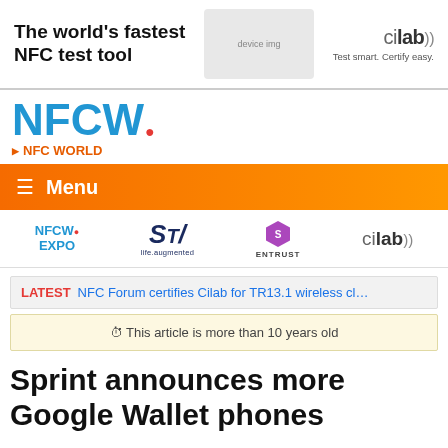[Figure (other): Advertisement banner for cilab NFC test tool with image of device and cables. Text: The world's fastest NFC test tool. cilab. Test smart. Certify easy.]
[Figure (logo): NFCW logo in blue with red dot, subtitle NFC WORLD in orange]
Menu
[Figure (logo): Sponsor logos row: NFCW EXPO, ST life.augmented, ENTRUST, cilab]
LATEST NFC Forum certifies Cilab for TR13.1 wireless cl…
This article is more than 10 years old
Sprint announces more Google Wallet phones